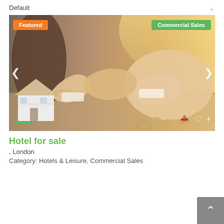Default
[Figure (photo): A real estate listing card image showing two people shaking hands in a business setting, with a small model house and keys in the foreground. Orange warm-toned background. Badges: 'Featured' (orange, top left) and 'Commercial Sales' (green, top right). Navigation arrows on left and right. Social action icons (share, heart, plus) bottom right. Green indicator bar bottom left.]
Hotel for sale
, London
Category: Hotels & Leisure, Commercial Sales